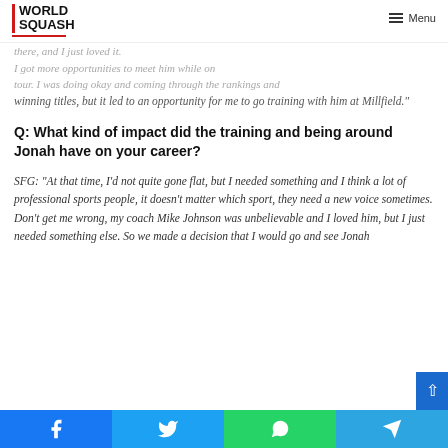WORLD SQUASH | Menu
there, and I just loved it.
I got more opportunities to meet him while on tour. I was doing okay and coming through the rankings and winning titles, but it led to an opportunity for me to go training with him at Millfield."
Q: What kind of impact did the training and being around Jonah have on your career?
SFG: "At that time, I'd not quite gone flat, but I needed something and I think a lot of professional sports people, it doesn't matter which sport, they need a new voice sometimes. Don't get me wrong, my coach Mike Johnson was unbelievable and I loved him, but I just needed something else. So we made a decision that I would go and see Jonah
Facebook | Twitter | WhatsApp | Telegram